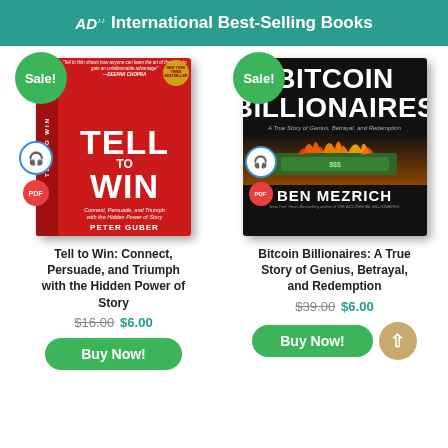AD International Best-Selling Books
[Figure (illustration): Book cover for 'Tell to Win: Connect, Persuade, and Triumph with the Hidden Power of Story' by Peter Guber, red cover with large white text]
[Figure (illustration): Book cover for 'Bitcoin Billionaires: A True Story of Genius, Betrayal, and Redemption' by Ben Mezrich, black cover with burning money image]
Tell to Win: Connect, Persuade, and Triumph with the Hidden Power of Story
$16.00 $6.00
Buy Now!
Bitcoin Billionaires: A True Story of Genius, Betrayal, and Redemption
$39.00 $6.00
Buy Now!